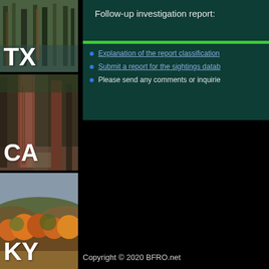[Figure (photo): Photo of forest with 'TX' text overlay]
[Figure (photo): Photo of redwood forest with 'CA' text overlay]
[Figure (photo): Photo of autumn hills with 'KY' text overlay]
Follow-up investigation report:
Explanation of the report classification
Submit a report for the sightings datab...
Please send any comments or inquirie...
Copyright © 2020 BFRO.net